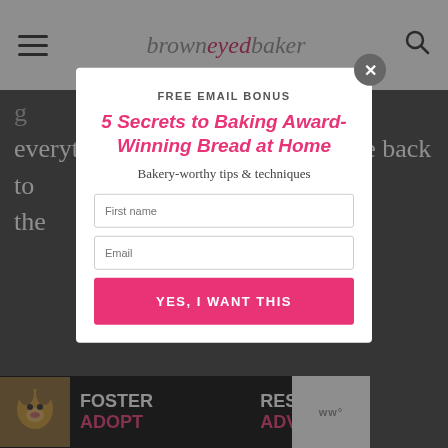browneyed baker
everything that will put your home back to the
[Figure (screenshot): Modal popup with free email bonus offer: '5 Secrets to Baking Award-Winning Bread at Home', with first name and email input fields and a 'YES, I WANT THIS' button]
[Figure (infographic): Bottom advertisement banner: Foster Adopt Advocate with dog image, pink rescue text]